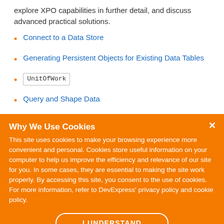explore XPO capabilities in further detail, and discuss advanced practical solutions.
Connect to a Data Store
Generating Persistent Objects for Existing Data Tables
UnitOfWork
Query and Shape Data
Review Type Foot...
Why We Use Cookies
This site uses cookies to make your browsing experience more convenient and personal. Cookies store useful information on your computer to help us improve the efficiency and relevance of our site for you. In some cases, they are essential to making the site work properly. By accessing this site, you consent to the use of cookies. For more information, refer to DevExpress' privacy policy and cookie policy.
I UNDERSTAND